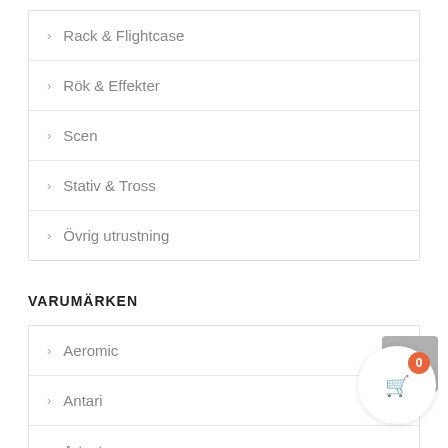> Rack & Flightcase
> Rök & Effekter
> Scen
> Stativ & Tross
> Övrig utrustning
VARUMÄRKEN
> Aeromic
> Antari
> Artecta
> Audiocenter
> DAP